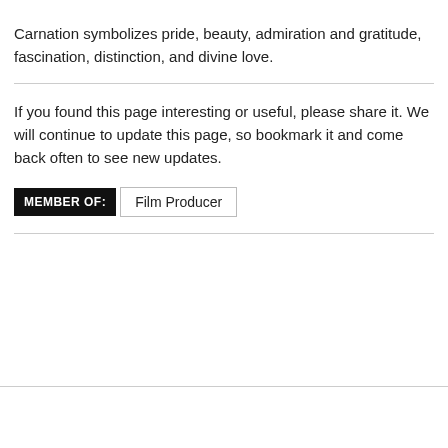Carnation symbolizes pride, beauty, admiration and gratitude, fascination, distinction, and divine love.
If you found this page interesting or useful, please share it. We will continue to update this page, so bookmark it and come back often to see new updates.
MEMBER OF:  Film Producer